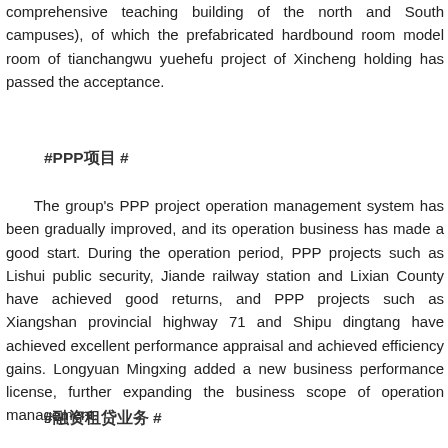comprehensive teaching building of the north and South campuses), of which the prefabricated hardbound room model room of tianchangwu yuehefu project of Xincheng holding has passed the acceptance.
#PPP项目 #
The group's PPP project operation management system has been gradually improved, and its operation business has made a good start. During the operation period, PPP projects such as Lishui public security, Jiande railway station and Lixian County have achieved good returns, and PPP projects such as Xiangshan provincial highway 71 and Shipu dingtang have achieved excellent performance appraisal and achieved efficiency gains. Longyuan Mingxing added a new business performance license, further expanding the business scope of operation management.
#融资租赁业务 #